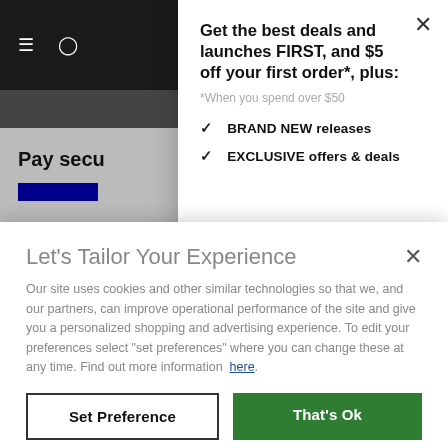[Figure (screenshot): Background of a website with dark top nav bar showing hamburger menu, search, account and cart icons (with badge showing 0). Below is a grey section and a content area showing 'Pay secu...' text partially visible, with an orange element. The background is dimmed/overlaid by modals.]
Get the best deals and launches FIRST, and $5 off your first order*, plus:
*When you spend over $50
BRAND NEW releases
EXCLUSIVE offers & deals
Let's Tailor Your Experience
Our site uses cookies and other similar technologies so that we, and our partners, can improve operational performance of the site and give you a personalized shopping and advertising experience. To edit your preferences select "set preferences" where you can change these at any time. Find out more information here.
Set Preference
That's Ok